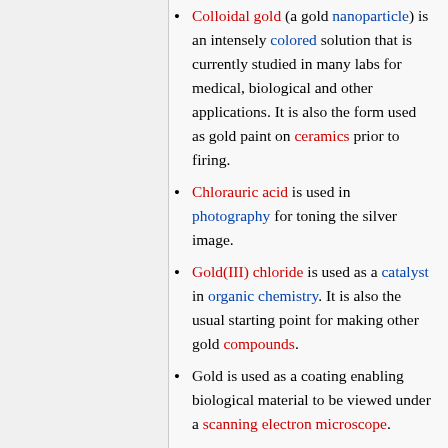Colloidal gold (a gold nanoparticle) is an intensely colored solution that is currently studied in many labs for medical, biological and other applications. It is also the form used as gold paint on ceramics prior to firing.
Chlorauric acid is used in photography for toning the silver image.
Gold(III) chloride is used as a catalyst in organic chemistry. It is also the usual starting point for making other gold compounds.
Gold is used as a coating enabling biological material to be viewed under a scanning electron microscope.
Many competitions and honors, such as the Olympics and the Nobel Prize,